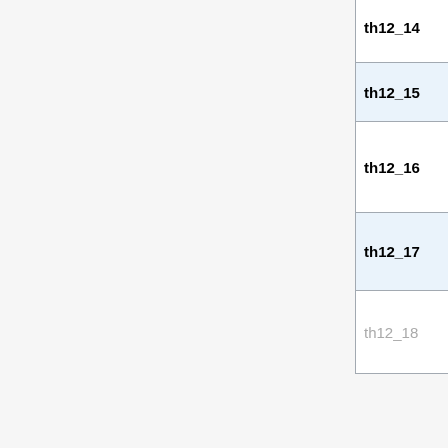| # | MediaWiki:Theme title orig/tl | Salinwika | MediaWiki s... |
| --- | --- | --- | --- |
| th12_14 | ภาษาไทยoriginal | tdb:th1214/tl | th12_... (MediaWiki arrange... |
| th12_15 | ภาษาไทย | tdb:th1215/tl |  |
| th12_16 | ภาษาไทย | tdb:th1216/tl | th12_... (MediaWiki arrange... |
| th12_17 | ภาษาไทย　〜 Sky Dream | tdb:th1217/tl | th12_... (MediaWiki arrange... |
| th12_18 | ภาษาไทย | tdb:th1218/tl | th10_... (MediaWiki duplica... |
[Baguhin]
Touhou Hisoutensoku 🌐 (th123)
| # | MediaWiki:Theme title orig/tl | Salinwika | Media s... |
| --- | --- | --- | --- |